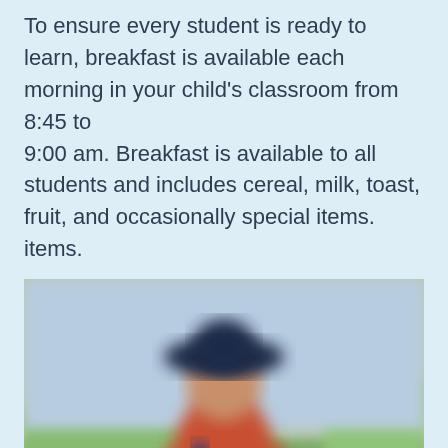To ensure every student is ready to learn, breakfast is available each morning in your child's classroom from 8:45 to 9:00 am. Breakfast is available to all students and includes cereal, milk, toast, fruit, and occasionally special items. items.
[Figure (photo): Blurred outdoor photo of a child wearing a hat and colorful jacket, standing on a green field]